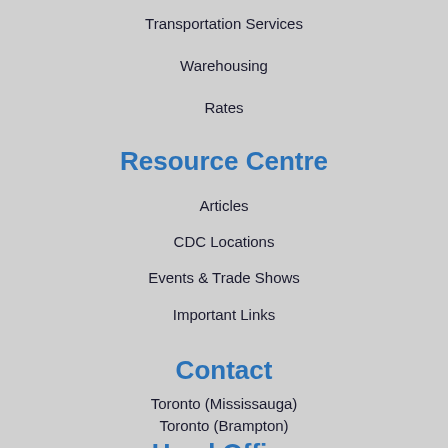Transportation Services
Warehousing
Rates
Resource Centre
Articles
CDC Locations
Events & Trade Shows
Important Links
Contact
Toronto (Mississauga)
Toronto (Brampton)
Head Office